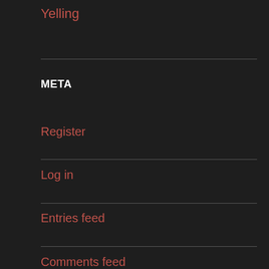Yelling
META
Register
Log in
Entries feed
Comments feed
WordPress.com